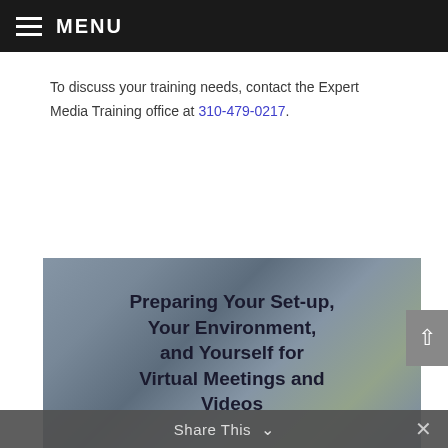MENU
To discuss your training needs, contact the Expert Media Training office at 310-479-0217.
[Figure (illustration): Promotional banner image with blurred background showing a person on a video call, with bold dark text overlay reading: Preparing Your Set-up, Your Environment, and Yourself for Virtual Meetings and Videos]
Share This